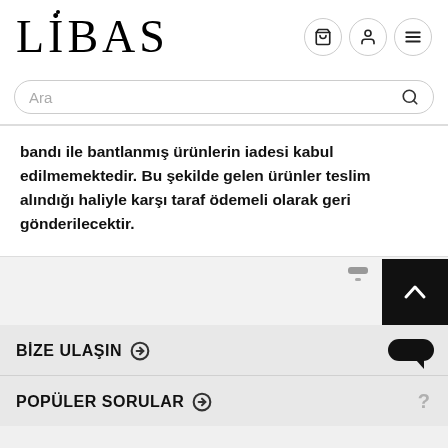[Figure (logo): LİBAS brand logo in serif font, large black text]
Ara
bandı ile bantlanmış ürünlerin iadesi kabul edilmemektedir. Bu şekilde gelen ürünler teslim alındığı haliyle karşı taraf ödemeli olarak geri gönderilecektir.
BİZE ULAŞIN
POPÜLER SORULAR